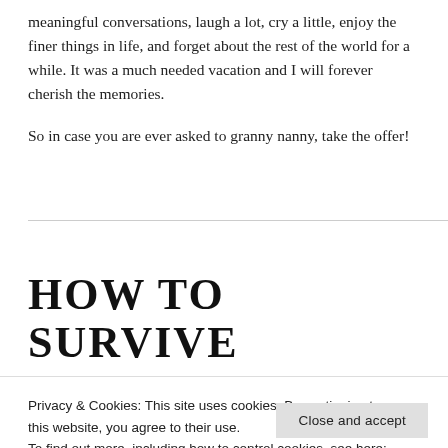meaningful conversations, laugh a lot, cry a little, enjoy the finer things in life, and forget about the rest of the world for a while. It was a much needed vacation and I will forever cherish the memories.
So in case you are ever asked to granny nanny, take the offer!
HOW TO SURVIVE
Privacy & Cookies: This site uses cookies. By continuing to use this website, you agree to their use.
To find out more, including how to control cookies, see here: Cookie Policy
Close and accept
January 23, 2016   Leave a comment